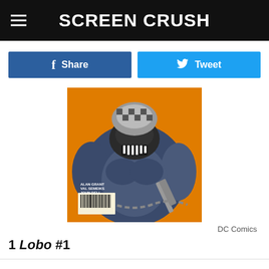Screen Crush
Share  Tweet
[Figure (photo): Comic book cover of Lobo #1, showing a muscular armored character holding an alien creature, with orange background, chains, and barcode at bottom left. Credits: Alan Grant, Val Semeiks, John Dell. DC Comics.]
DC Comics
1 Lobo #1